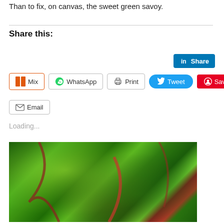Than to fix, on canvas, the sweet green savoy.
Share this:
[Figure (screenshot): Social share buttons: LinkedIn Share, Mix, WhatsApp, Print, Tweet, Save, Email]
Loading...
[Figure (photo): Close-up photograph of green savoy/chard leaves with bright red stems, sunlit in a garden]